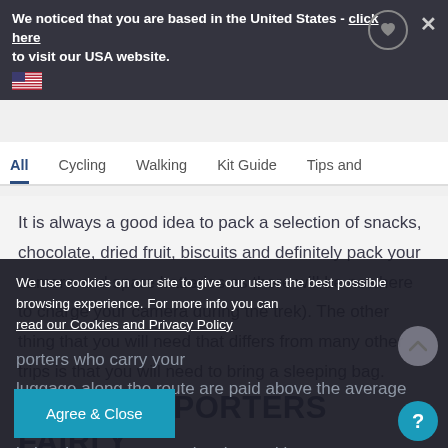We noticed that you are based in the United States - click here to visit our USA website.
All   Cycling   Walking   Kit Guide   Tips and
It is always a good idea to pack a selection of snacks, chocolate, dried fruit, biscuits and definitely pack your camera and spare batteries as there will be nowhere to charge your camera during the trek). The other thing that you will need that differs from many other trips is that you will need to bring a sleeping bag.
ARE OUR PORTERS FAIRLY TREATED?
We use cookies on our site to give our users the best possible browsing experience. For more info you can read our Cookies and Privacy Policy
porters who carry your luggage along the route are paid above the average wage. A
in local programmes to involve and improve